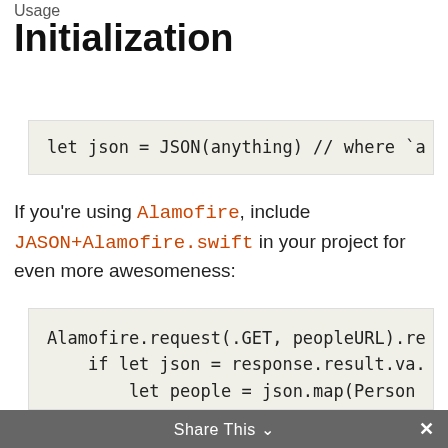Usage
Initialization
[Figure (screenshot): Code block showing: let json = JSON(anything) // where `a]
If you're using Alamofire, include JASON+Alamofire.swift in your project for even more awesomeness:
[Figure (screenshot): Code block showing: Alamofire.request(.GET, peopleURL).re
    if let json = response.result.va.
        let people = json.map(Person
        print("people: (people)")
    }
}]
Share This ∨  ✕